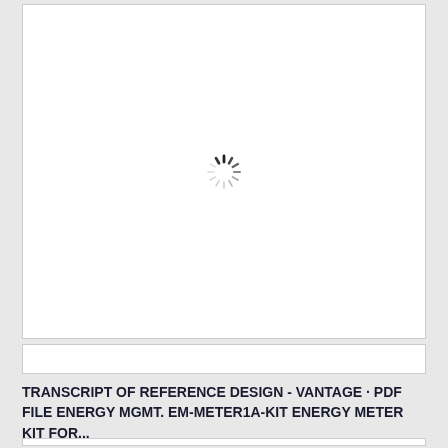[Figure (other): White card area with a loading spinner (circular throbber) in the center, indicating a document preview is loading]
TRANSCRIPT OF REFERENCE DESIGN - VANTAGE · PDF FILE ENERGY MGMT. EM-METER1A-KIT ENERGY METER KIT FOR...